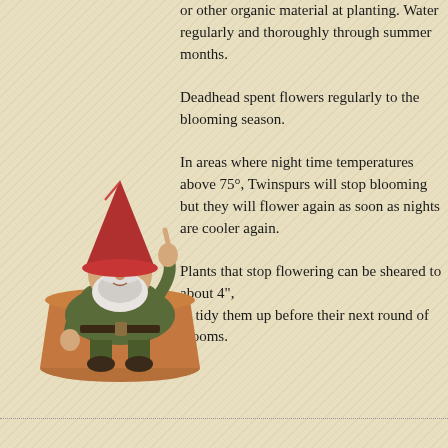or other organic material at planting. Water regularly and thoroughly through summer months. Deadhead spent flowers regularly to the blooming season. In areas where night time temperatures above 75°, Twinspurs will stop blooming but they will flower again as soon as nights are cooler again. Plants that stop flowering can be sheared to about 4", to tidy them up before their next round of blooms.
[Figure (photo): A garden gnome figurine wearing a red pointed hat and green jacket, sitting on a terracotta flower pot.]